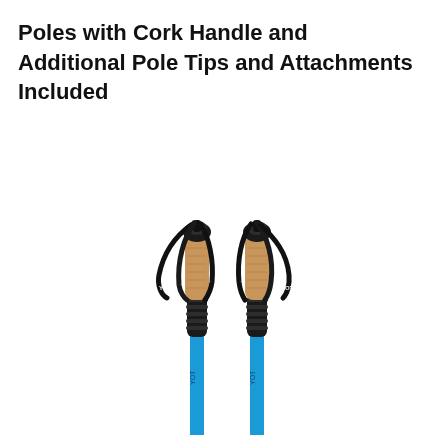Poles with Cork Handle and Additional Pole Tips and Attachments Included
[Figure (photo): Two trekking/hiking poles with cork handles (tan/brown textured cork grip at top), black wrist straps dangling from the top, black ergonomic lower grip sections with ridged texture, and bright blue pole shafts extending downward. Poles are shown side by side against a white background.]